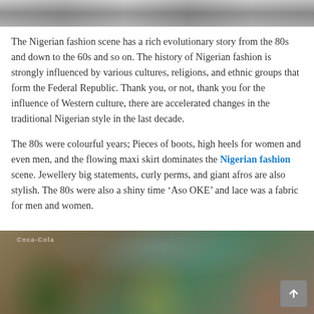[Figure (photo): Black and white photo strip showing people in Nigerian fashion from past decades, cropped at top of page]
The Nigerian fashion scene has a rich evolutionary story from the 80s and down to the 60s and so on. The history of Nigerian fashion is strongly influenced by various cultures, religions, and ethnic groups that form the Federal Republic. Thank you, or not, thank you for the influence of Western culture, there are accelerated changes in the traditional Nigerian style in the last decade.
The 80s were colourful years; Pieces of boots, high heels for women and even men, and the flowing maxi skirt dominates the Nigerian fashion scene. Jewellery big statements, curly perms, and giant afros are also stylish. The 80s were also a shiny time ‘Aso OKE’ and lace was a fabric for men and women.
[Figure (photo): Color photo of three women in vibrant outfits (green, yellow, pink) with large afro hairstyles, posed together smiling, with a Coca-Cola sign visible in the background]